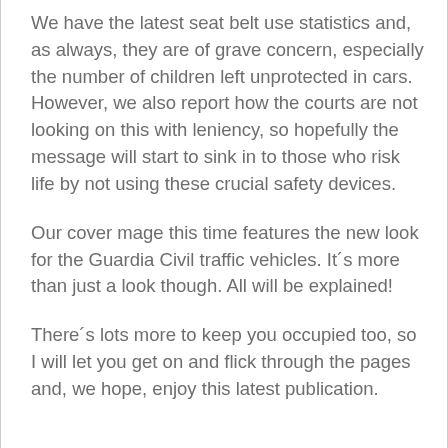We have the latest seat belt use statistics and, as always, they are of grave concern, especially the number of children left unprotected in cars. However, we also report how the courts are not looking on this with leniency, so hopefully the message will start to sink in to those who risk life by not using these crucial safety devices.
Our cover mage this time features the new look for the Guardia Civil traffic vehicles. It´s more than just a look though. All will be explained!
There´s lots more to keep you occupied too, so I will let you get on and flick through the pages and, we hope, enjoy this latest publication.